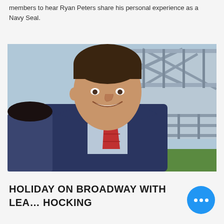members to hear Ryan Peters share his personal experience as a Navy Seal.
[Figure (photo): Professional headshot of a man in a navy suit and red tie, smiling, with a metal bridge structure in the background.]
HOLIDAY ON BROADWAY WITH LEA... HOCKING